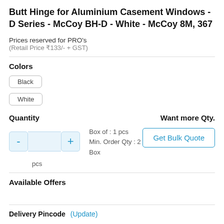Butt Hinge for Aluminium Casement Windows - D Series - McCoy BH-D - White - McCoy 8M, 367
Prices reserved for PRO's
(Retail Price ₹133/- + GST)
Colors
Black
White
Quantity
Want more Qty.
Box of : 1 pcs
Min. Order Qty : 2 Box
pcs
Get Bulk Quote
Available Offers
Delivery Pincode
(Update)